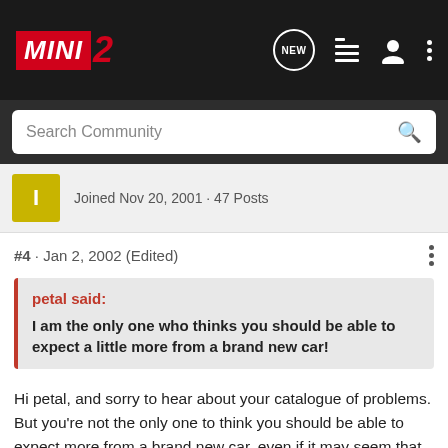MINI 2 — navigation bar with logo, NEW, list, user, and menu icons
Search Community
Joined Nov 20, 2001 · 47 Posts
#4 · Jan 2, 2002 (Edited)
petal said: I am the only one who thinks you should be able to expect a little more from a brand new car!
Hi petal, and sorry to hear about your catalogue of problems. But you're not the only one to think you should be able to expect more from a brand new car, even if it may seem that way. The problem is, in this less than perfect world, it is both widely known and generally accepted that brand new cars (ie cars only just released) will often have teething problems and often be subject to recalls. That's just the way it is. It seems you